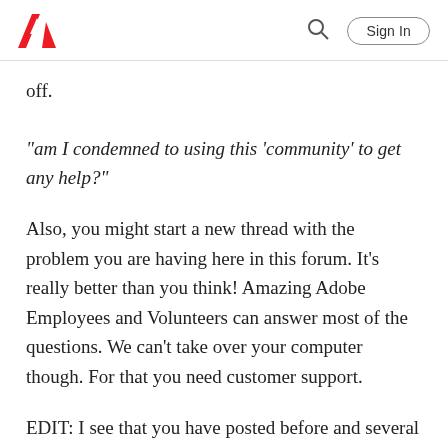Adobe | Sign In
off.
"am I condemned to using this 'community' to get any help?"
Also, you might start a new thread with the problem you are having here in this forum. It's really better than you think! Amazing Adobe Employees and Volunteers can answer most of the questions. We can't take over your computer though. For that you need customer support.
EDIT: I see that you have posted before and several